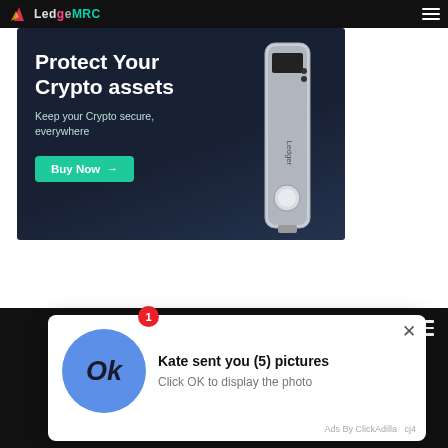[Figure (screenshot): Navigation bar with Ledger logo (flame icon and text 'LedgeMRC') on dark background, with hamburger menu icon on right]
[Figure (screenshot): Ledger hardware wallet advertisement banner on dark navy background. Shows 'Protect Your Crypto assets' headline, 'Keep your Crypto secure, everywhere' subtext, a green 'Buy Now →' button, and an image of a Ledger Nano hardware wallet device on the right side.]
[Figure (screenshot): Notification popup overlay at bottom of page. Shows a blue circular avatar with 'Ok' text, a red badge with '1', title 'Kate sent you (5) pictures', body text 'Click OK to display the photo', close (X) button, and 'Ads By ClickAdilla cj4' attribution at bottom right.]